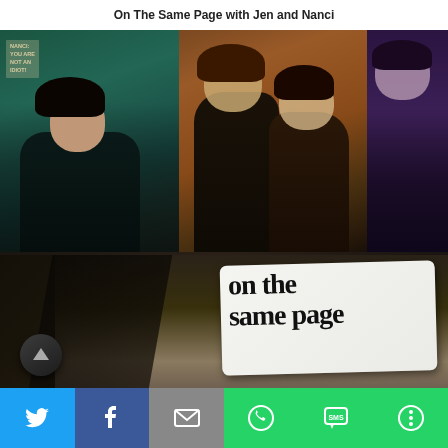On The Same Page with Jen and Nanci
[Figure (photo): A photo collage showing vintage photographs: left photo shows a woman with dark hair holding a sign reading 'NANCI: You are NOT an IDIOT!' in a teal-tinted setting; center photo shows two women together in warm tones; right photo shows a child in purple tones. Bottom half shows a cassette tape design with a white label reading 'on the same page' in handwritten text.]
[Figure (infographic): Social media share bar at the bottom with six buttons: Twitter (blue), Facebook (dark blue), Email (grey), WhatsApp (green), SMS (green), and More/Other (green), each with corresponding icons.]